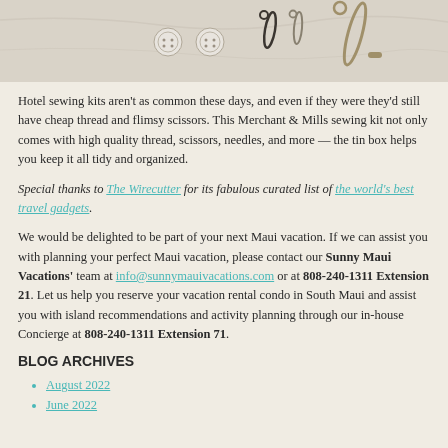[Figure (photo): Top portion of a photo showing sewing kit items: white buttons, a thimble/needle threader, safety pins, and paper clips arranged on a light marble surface.]
Hotel sewing kits aren't as common these days, and even if they were they'd still have cheap thread and flimsy scissors. This Merchant & Mills sewing kit not only comes with high quality thread, scissors, needles, and more — the tin box helps you keep it all tidy and organized.
Special thanks to The Wirecutter for its fabulous curated list of the world's best travel gadgets.
We would be delighted to be part of your next Maui vacation. If we can assist you with planning your perfect Maui vacation, please contact our Sunny Maui Vacations' team at info@sunnymauivacations.com or at 808-240-1311 Extension 21. Let us help you reserve your vacation rental condo in South Maui and assist you with island recommendations and activity planning through our in-house Concierge at 808-240-1311 Extension 71.
BLOG ARCHIVES
August 2022
June 2022